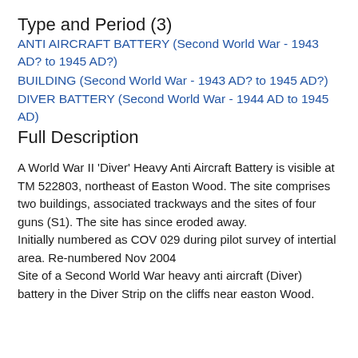Type and Period (3)
ANTI AIRCRAFT BATTERY (Second World War - 1943 AD? to 1945 AD?)
BUILDING (Second World War - 1943 AD? to 1945 AD?)
DIVER BATTERY (Second World War - 1944 AD to 1945 AD)
Full Description
A World War II 'Diver' Heavy Anti Aircraft Battery is visible at TM 522803, northeast of Easton Wood. The site comprises two buildings, associated trackways and the sites of four guns (S1). The site has since eroded away.
Initially numbered as COV 029 during pilot survey of intertial area. Re-numbered Nov 2004
Site of a Second World War heavy anti aircraft (Diver) battery in the Diver Strip on the cliffs near easton Wood. It was armed with four 3.7 inch AA shells